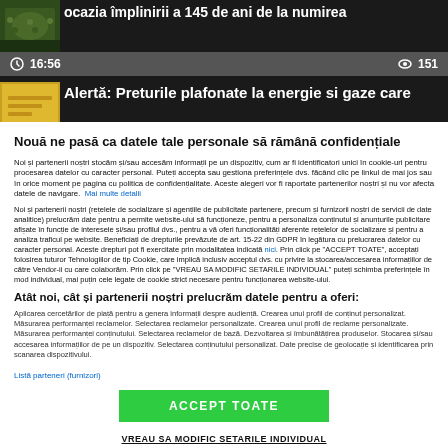[Figure (screenshot): News article thumbnail showing crowd at an event]
ocazia împlinirii a 145 de ani de la numirea
16:56   151
[Figure (photo): Yellow thumbnail for second news article]
Alertă: Preturile plafonate la energie si gaze care
Nouă ne pasă ca datele tale personale să rămână confidențiale
Noi și partenerii noștri stocăm și/sau accesăm informații pe un dispozitiv, cum ar fi identificatori unici în cookie-uri pentru procesarea datelor cu caracter personal. Puteți accepta sau gestiona preferințele dvs. făcând clic pe linkul de mai jos sau în orice moment pe pagina cu politica de confidențialitate. Aceste alegeri vor fi raportate partenerilor noștri și nu vor afecta datele de navigare.  Mai multe detalii
Noi și partenerii noștri (rețelele de socializare și agențiile de publicitate partenere, precum și furnizorii noștri de servicii de date analitice) prelucrăm date pentru a permite website-ului să funcționeze, pentru a personaliza conținutul și anunțurile publicitare afișate în funcție de interesele și/sau profilul dvs., pentru a vă oferi funcționalități aferente rețelelor de socializare și pentru a analiza traficul pe website. Beneficiați de drepturile prevăzute de art. 15-22 din GDPR în legătura cu prelucrarea datelor cu caracter personal. Aceste drepturi pot fi exercitate prin modalitatea indicată aici. Prin click pe "ACCEPT TOATE", acceptați folosirea tuturor Tehnologiilor de tip Cookie, care implică inclusiv acceptul dvs. cu privire la stocarea/accesarea informațiilor de către Vendor-ii cu care colaborăm. Prin click pe "VREAU SA MODIFIC SETARILE INDIVIDUAL" puteți schimba preferințele în mod individual, mai puțin cele legate de cookie strict necesare pentru funcționarea website-ului.
Atât noi, cât și partenerii noștri prelucrăm datele pentru a oferi:
Aplicarea cercetărilor de piață pentru a genera informații despre audiență. Crearea unui profil de conținut personalizat. Măsurarea performanței reclamelor. Selectarea reclamelor personalizate. Crearea unui profil de reclame personalizate. Măsurarea performanței conținutului. Selectarea reclamelor de bază. Dezvoltarea și îmbunătățirea produselor. Stocarea și/sau accesarea informațiilor de pe un dispozitiv. Selectarea conținutului personalizat. Date precise de geolocație și identificarea prin scanarea dispozitivului.
Listă parteneri (furnizori)
ACCEPT TOATE
VREAU SA MODIFIC SETARILE INDIVIDUAL